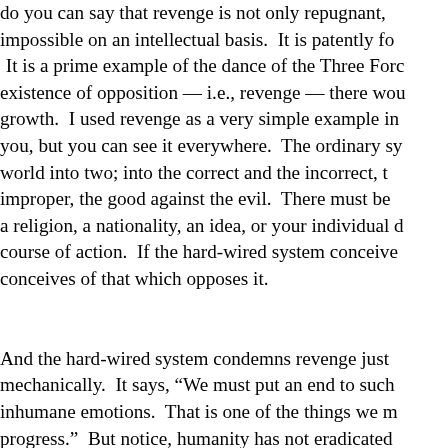do you can say that revenge is not only repugnant, impossible on an intellectual basis.  It is patently fo It is a prime example of the dance of the Three Forc existence of opposition — i.e., revenge — there wou growth.  I used revenge as a very simple example in you, but you can see it everywhere.  The ordinary sy world into two; into the correct and the incorrect, t improper, the good against the evil.  There must be a religion, a nationality, an idea, or your individual c course of action.  If the hard-wired system conceive conceives of that which opposes it.

And the hard-wired system condemns revenge just mechanically.  It says, "We must put an end to such inhumane emotions.  That is one of the things we m progress."  But notice, humanity has not eradicated Revenge is just a word.  In reality, it is energy; it is p things moving.  And as long as things are moving, t revenge cannot be eradicated; it cannot be stopped "We must stop it." That is part of the same the...